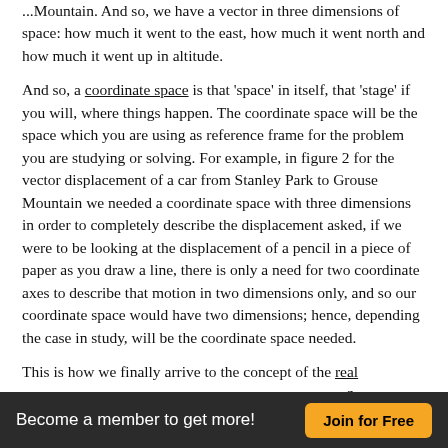...Mountain. And so, we have a vector in three dimensions of space: how much it went to the east, how much it went north and how much it went up in altitude.
And so, a coordinate space is that 'space' in itself, that 'stage' if you will, where things happen. The coordinate space will be the space which you are using as reference frame for the problem you are studying or solving. For example, in figure 2 for the vector displacement of a car from Stanley Park to Grouse Mountain we needed a coordinate space with three dimensions in order to completely describe the displacement asked, if we were to be looking at the displacement of a pencil in a piece of paper as you draw a line, there is only a need for two coordinate axes to describe that motion in two dimensions only, and so our coordinate space would have two dimensions; hence, depending the case in study, will be the coordinate space needed.
This is how we finally arrive to the concept of the real coordinate space of n-dimensions or simply called R^n. For any given scenario, R^n provides the coordinate space where all of the components in a vector can be noted and represented. In other words, if we have a vector with two components in two different dimensions, then we
Become a member to get more!   Join for Free